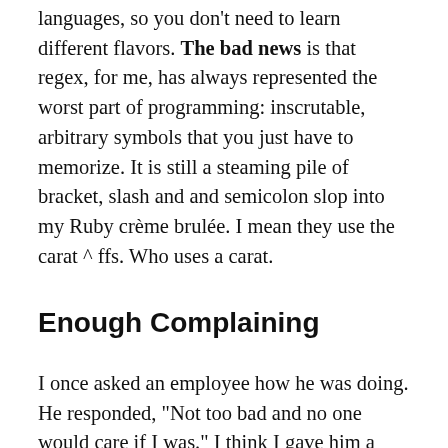languages, so you don't need to learn different flavors. The bad news is that regex, for me, has always represented the worst part of programming: inscrutable, arbitrary symbols that you just have to memorize. It is still a steaming pile of bracket, slash and and semicolon slop into my Ruby crème brulée. I mean they use the carat ^ ffs. Who uses a carat.
Enough Complaining
I once asked an employee how he was doing. He responded, "Not too bad and no one would care if I was." I think I gave him a bewildered